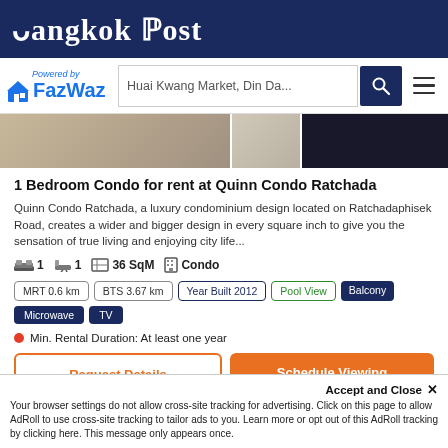Bangkok Post
[Figure (screenshot): FazWaz navigation bar with search field showing 'Huai Kwang Market, Din Da...' and search/menu buttons]
[Figure (photo): Partial property photos strip showing interior and dark image]
1 Bedroom Condo for rent at Quinn Condo Ratchada
Quinn Condo Ratchada, a luxury condominium design located on Ratchadaphisek Road, creates a wider and bigger design in every square inch to give you the sensation of true living and enjoying city life...
1 bedroom  1 bathroom  36 SqM  Condo
MRT 0.6 km  BTS 3.67 km  Year Built 2012  Pool View  Balcony  Microwave  TV
Min. Rental Duration: At least one year
Request Details  Schedule Viewing
Accept and Close ✕
Your browser settings do not allow cross-site tracking for advertising. Click on this page to allow AdRoll to use cross-site tracking to tailor ads to you. Learn more or opt out of this AdRoll tracking by clicking here. This message only appears once.